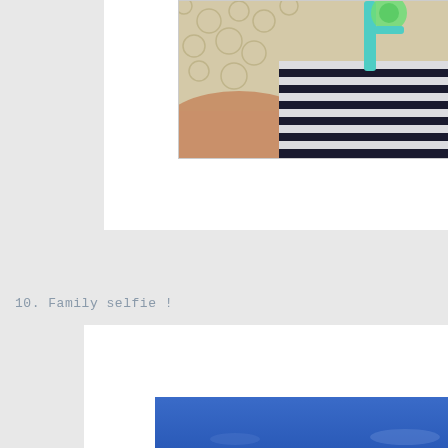[Figure (photo): Cropped photo of a baby wearing a striped navy and white outfit with a pacifier/dummy, lying on a crocheted/lace blanket. Teal/blue pacifier clip visible. Partial view of an adult arm/lap.]
10. Family selfie !
[Figure (photo): Partial photo showing a bright blue sky, cut off at page edge.]